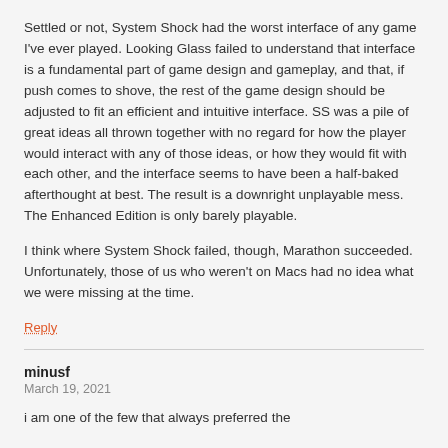Settled or not, System Shock had the worst interface of any game I've ever played. Looking Glass failed to understand that interface is a fundamental part of game design and gameplay, and that, if push comes to shove, the rest of the game design should be adjusted to fit an efficient and intuitive interface. SS was a pile of great ideas all thrown together with no regard for how the player would interact with any of those ideas, or how they would fit with each other, and the interface seems to have been a half-baked afterthought at best. The result is a downright unplayable mess. The Enhanced Edition is only barely playable.

I think where System Shock failed, though, Marathon succeeded. Unfortunately, those of us who weren't on Macs had no idea what we were missing at the time.
Reply
minusf
March 19, 2021
i am one of the few that always preferred the